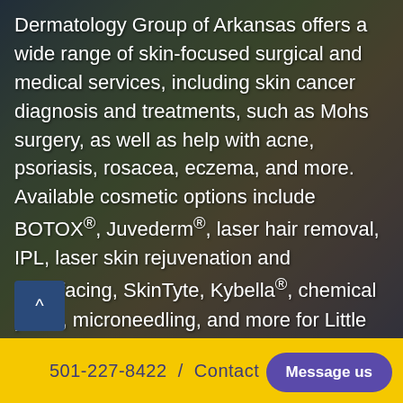Dermatology Group of Arkansas offers a wide range of skin-focused surgical and medical services, including skin cancer diagnosis and treatments, such as Mohs surgery, as well as help with acne, psoriasis, rosacea, eczema, and more. Available cosmetic options include BOTOX®, Juvederm®, laser hair removal, IPL, laser skin rejuvenation and resurfacing, SkinTyte, Kybella®, chemical peels, microneedling, and more for Little Rock, Conway, Hot Springs, Benton, and beyond.
501-227-8422  /  Contact   Message us